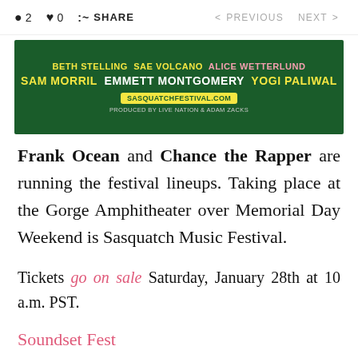2 0 SHARE < PREVIOUS NEXT >
[Figure (illustration): Festival banner for Sasquatch Music Festival on dark green background with yellow and white text listing performers: Beth Stelling, Sae Volcano, Alice Wetterlund, Sam Morril, Emmett Montgomery, Yogi Paliwal. URL: sasquatchfestival.com. Produced by Live Nation & Adam Zacks.]
Frank Ocean and Chance the Rapper are running the festival lineups. Taking place at the Gorge Amphitheater over Memorial Day Weekend is Sasquatch Music Festival.
Tickets go on sale Saturday, January 28th at 10 a.m. PST.
Soundset Fest
May 28th